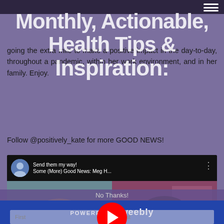Monthly, Actionable, Health Tips & Inspiration:
going the extra mile to make a positive impact in the day-to-day, throughout a pandemic, within her work environment, and in her family. Enjoy.
Follow @positively_kate for more GOOD NEWS!
[Figure (screenshot): YouTube video embed showing two women video chatting, with a red play button overlay. Video title: 'Send them my way! Some (More) Good News: Meg H...' Form fields for First name, Last name, Email Address overlaid. Subscribe button at bottom. Name labels: Kate Crenkinale, Meg Haggerty (she/her).]
POWERED BY weebly
No Thanks!